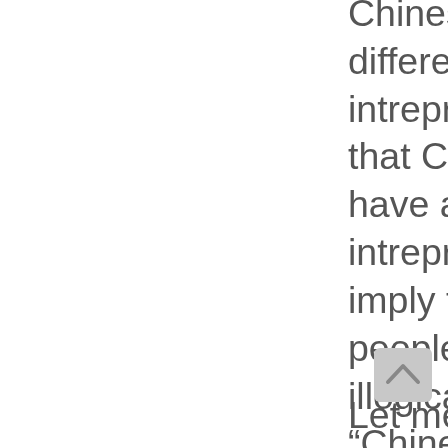Chinese people have a different verison of intrepreting truth. To say that Chinese people have a different way of intrepreting truth, would imply that Chinese people are clearly illogical and the idea of a “Chinese scientist” would be clearly an oxymoron.
[Figure (other): Scroll-to-top button (chevron up arrow on grey rounded rectangle background)]
Let me ask other